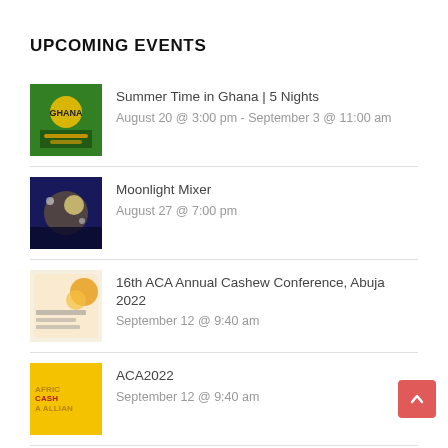UPCOMING EVENTS
Summer Time in Ghana | 5 Nights
August 20 @ 3:00 pm - September 3 @ 11:00 am
Moonlight Mixer
August 27 @ 7:00 pm
16th ACA Annual Cashew Conference, Abuja 2022
September 12 @ 9:40 am
ACA2022
September 12 @ 9:40 am
WOMEN ENTREPRENEURS AND EXECUTIVE IN TECH SUMMIT
September 15 @ 7:00 am - 3:00 pm